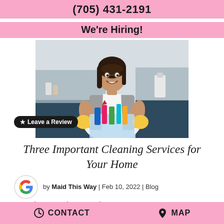(705) 431-2191
We're Hiring!
[Figure (photo): A smiling woman in an apron holding a basket of cleaning supplies in a kitchen setting]
Three Important Cleaning Services for Your Home
Leave a Review
by Maid This Way | Feb 10, 2022 | Blog
Sometimes your home can become
CONTACT   MAP